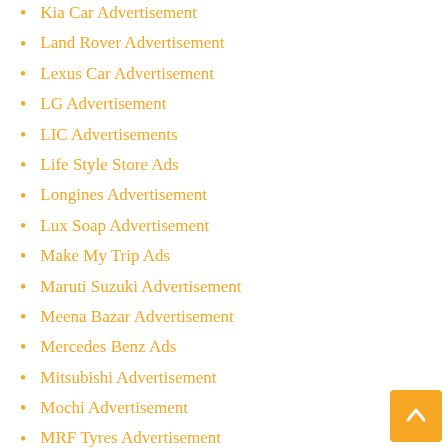Kia Car Advertisement
Land Rover Advertisement
Lexus Car Advertisement
LG Advertisement
LIC Advertisements
Life Style Store Ads
Longines Advertisement
Lux Soap Advertisement
Make My Trip Ads
Maruti Suzuki Advertisement
Meena Bazar Advertisement
Mercedes Benz Ads
Mitsubishi Advertisement
Mochi Advertisement
MRF Tyres Advertisement